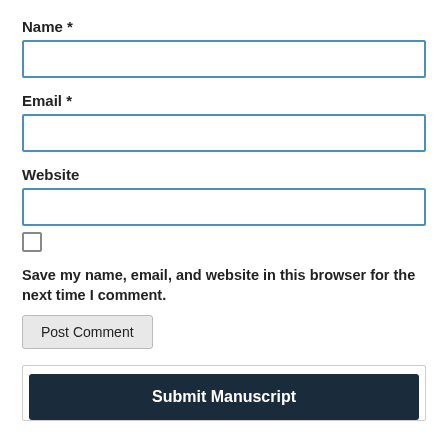Name *
[Figure (screenshot): Empty text input field with blue border for Name]
Email *
[Figure (screenshot): Empty text input field with blue border for Email]
Website
[Figure (screenshot): Empty text input field with blue border for Website]
[Figure (screenshot): Unchecked checkbox]
Save my name, email, and website in this browser for the next time I comment.
[Figure (screenshot): Post Comment button]
[Figure (screenshot): Submit Manuscript dark button inside a bordered box]